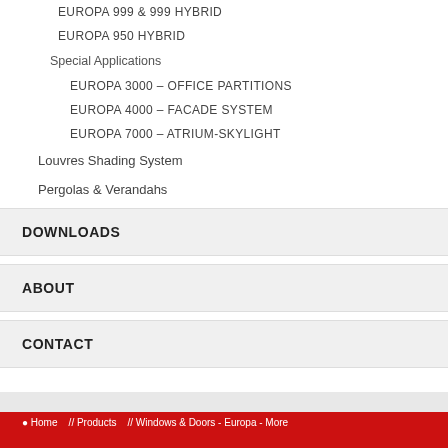EUROPA 999 & 999 HYBRID
EUROPA 950 HYBRID
Special Applications
EUROPA 3000 - OFFICE PARTITIONS
EUROPA 4000 - FACADE SYSTEM
EUROPA 7000 - ATRIUM-SKYLIGHT
Louvres Shading System
Pergolas & Verandahs
DOWNLOADS
ABOUT
CONTACT